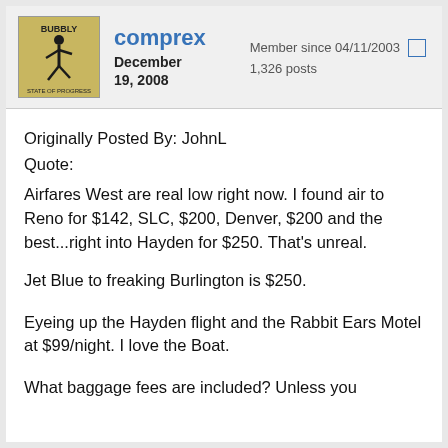comprex
December 19, 2008
Member since 04/11/2003  1,326 posts
Originally Posted By: JohnL
Quote:
Airfares West are real low right now. I found air to Reno for $142, SLC, $200, Denver, $200 and the best...right into Hayden for $250. That's unreal.
Jet Blue to freaking Burlington is $250.
Eyeing up the Hayden flight and the Rabbit Ears Motel at $99/night. I love the Boat.
What baggage fees are included? Unless you